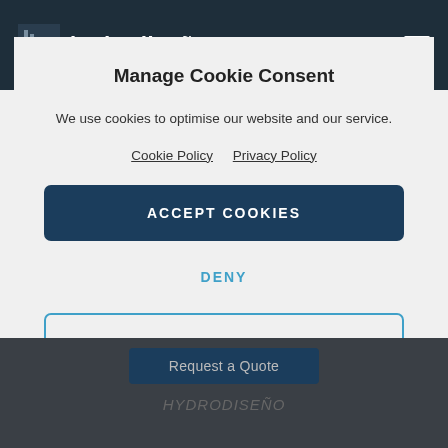[Figure (screenshot): Website navigation bar with hydrodiseño logo and hamburger menu icon on dark navy background]
Manage Cookie Consent
We use cookies to optimise our website and our service.
Cookie Policy   Privacy Policy
ACCEPT COOKIES
DENY
VIEW PREFERENCES
Request a Quote
HYDRODISEÑO